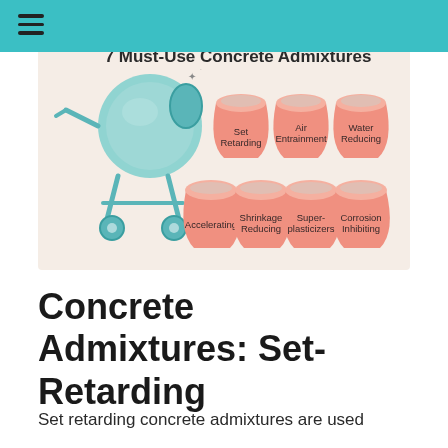[Figure (infographic): Infographic titled '7 Must-Use Concrete Admixtures' showing a concrete mixer on the left and 7 pink bucket/cup shapes labeled: Set Retarding, Air Entrainment, Water Reducing, Accelerating, Shrinkage Reducing, Super-plasticizers, Corrosion Inhibiting. Background is beige/cream.]
Concrete Admixtures: Set-Retarding
Set retarding concrete admixtures are used